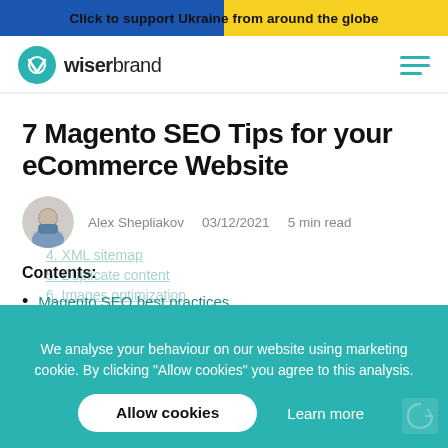Click to support Ukraine from around the globe
[Figure (logo): Wiserbrand logo with teal circular icon and text 'wiserbrand']
7 Magento SEO Tips for your eCommerce Website
Alex Shepliakov  03/12/2021  5 min read
Contents:
Magento SEO best practices
1. Clean URLs
4. XML sitemap
5. Duplicate content
6. Images optimization
We analyse your behaviour on our website using marketing cookie. By clicking "Allow cookies" you agree to this analysis.
Allow cookies
Learn more